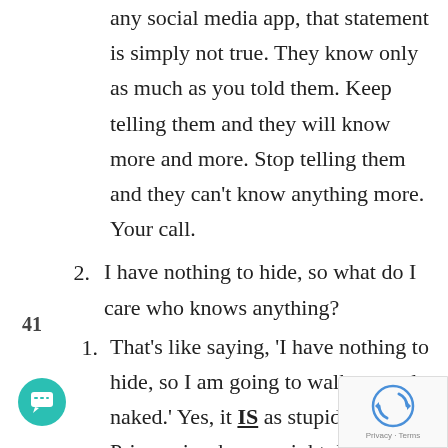any social media app, that statement is simply not true. They know only as much as you told them. Keep telling them and they will know more and more. Stop telling them and they can't know anything more. Your call.
2. I have nothing to hide, so what do I care who knows anything?
1. That's like saying, 'I have nothing to hide, so I am going to walk around naked.' Yes, it IS as stupid as that. Privacy is a human right. It is the basis of dignity. We have nothing negative to hide but that doesn't mean that strangers must have access to our
41